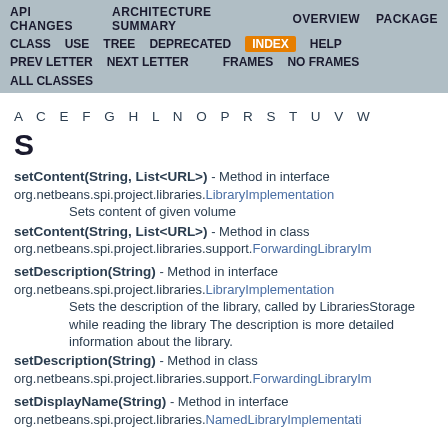API CHANGES   ARCHITECTURE SUMMARY   OVERVIEW   PACKAGE   CLASS   USE   TREE   DEPRECATED   INDEX   HELP   PREV LETTER   NEXT LETTER   FRAMES   NO FRAMES   ALL CLASSES
A C E F G H L N O P R S T U V W
S
setContent(String, List<URL>) - Method in interface org.netbeans.spi.project.libraries.LibraryImplementation
Sets content of given volume
setContent(String, List<URL>) - Method in class org.netbeans.spi.project.libraries.support.ForwardingLibraryImplementation
setDescription(String) - Method in interface org.netbeans.spi.project.libraries.LibraryImplementation
Sets the description of the library, called by LibrariesStorage while reading the library The description is more detailed information about the library.
setDescription(String) - Method in class org.netbeans.spi.project.libraries.support.ForwardingLibraryImplementation
setDisplayName(String) - Method in interface org.netbeans.spi.project.libraries.NamedLibraryImplementation